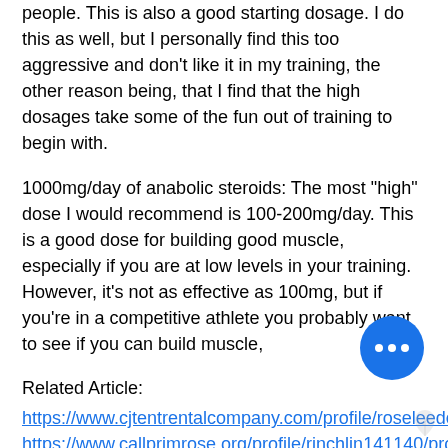people. This is also a good starting dosage. I do this as well, but I personally find this too aggressive and don't like it in my training, the other reason being, that I find that the high dosages take some of the fun out of training to begin with.
1000mg/day of anabolic steroids: The most "high" dose I would recommend is 100-200mg/day. This is a good dose for building good muscle, especially if you are at low levels in your training. However, it's not as effective as 100mg, but if you're in a competitive athlete you probably want to see if you can build muscle,
Related Article:
https://www.cjtentrentalcompany.com/profile/roseleedeford75653/profile
https://www.callprimrose.org/profile/rinchlin141140/profile
https://www.tndashing.com/profile/bernadett